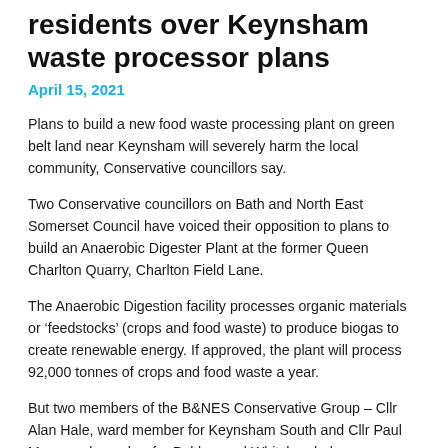residents over Keynsham waste processor plans
April 15, 2021
Plans to build a new food waste processing plant on green belt land near Keynsham will severely harm the local community, Conservative councillors say.
Two Conservative councillors on Bath and North East Somerset Council have voiced their opposition to plans to build an Anaerobic Digester Plant at the former Queen Charlton Quarry, Charlton Field Lane.
The Anaerobic Digestion facility processes organic materials or ‘feedstocks’ (crops and food waste) to produce biogas to create renewable energy. If approved, the plant will process 92,000 tonnes of crops and food waste a year.
But two members of the B&NES Conservative Group – Cllr Alan Hale, ward member for Keynsham South and Cllr Paul May, ward member for Publow and Whitchurch, have